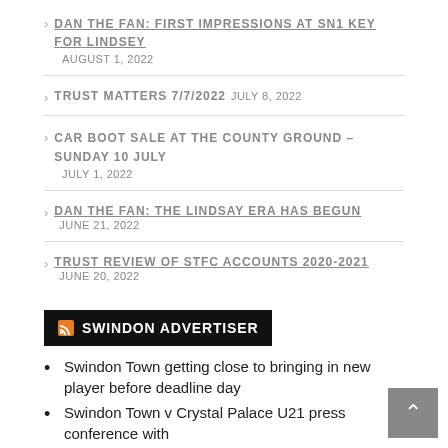DAN THE FAN: FIRST IMPRESSIONS AT SN1 KEY FOR LINDSEY  AUGUST 1, 2022
TRUST MATTERS 7/7/2022  JULY 8, 2022
CAR BOOT SALE AT THE COUNTY GROUND – SUNDAY 10 JULY  JULY 1, 2022
DAN THE FAN: THE LINDSAY ERA HAS BEGUN  JUNE 21, 2022
TRUST REVIEW OF STFC ACCOUNTS 2020-2021  JUNE 20, 2022
SWINDON ADVERTISER
Swindon Town getting close to bringing in new player before deadline day
Swindon Town v Crystal Palace U21 press conference with